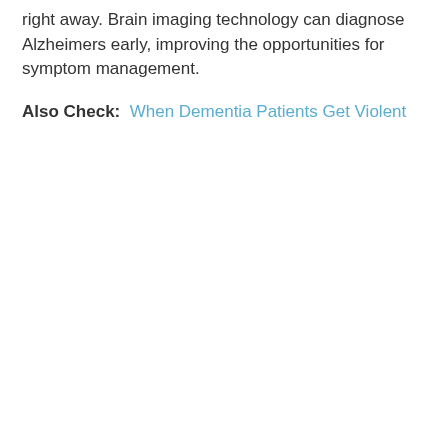right away. Brain imaging technology can diagnose Alzheimers early, improving the opportunities for symptom management.
Also Check: When Dementia Patients Get Violent